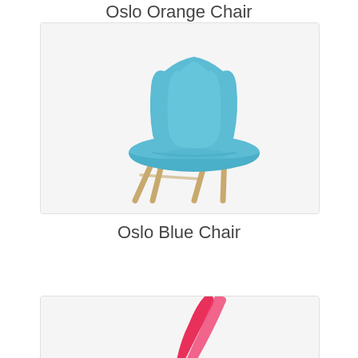Oslo Orange Chair
[Figure (photo): Oslo Blue Chair — a modern Scandinavian-style dining chair with a rounded sky-blue plastic shell seat and back, supported by four slender natural wood-tone metal legs, photographed from a 3/4 angle on a white/light grey background.]
Oslo Blue Chair
[Figure (photo): Partial view of a pink/hot-pink chair or object, cropped at the bottom of the page.]